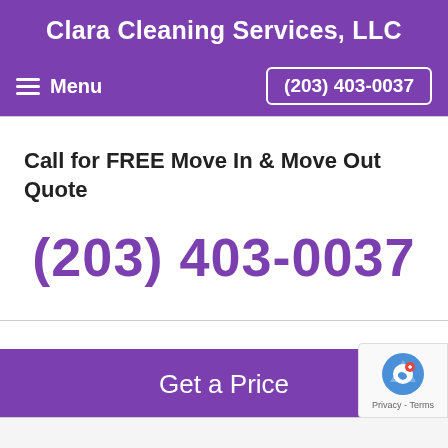Clara Cleaning Services, LLC
Menu  (203) 403-0037
Call for FREE Move In & Move Out Quote
(203) 403-0037
Get a Price